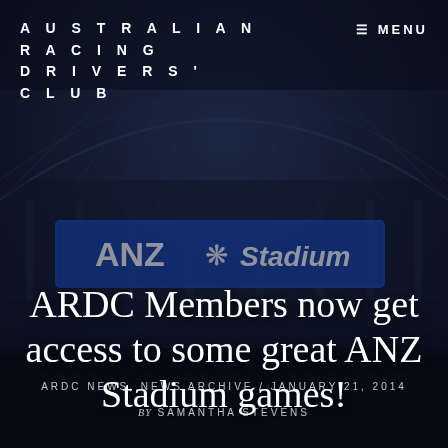[Figure (photo): Background photo of ANZ Stadium exterior with dark overlay. The stadium facade is visible with a large blue ANZ Stadium sign. People are visible at ground level. The image is darkened with a navy/dark blue overlay. Structural roof arches are visible at the top.]
AUSTRALIAN RACING DRIVERS' CLUB
≡ MENU
ARDC Members now get access to some great ANZ Stadium games!
ARDC NEWS, NEWS ARCHIVE / JANUARY 21, 2014
by SAMANTHA STEVENS